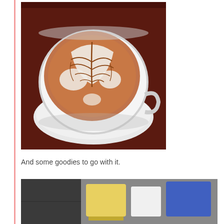[Figure (photo): Overhead view of a latte art coffee in a white cup on a white saucer, placed on a dark red surface. The foam art depicts a leafy/tree-like pattern in brown and white.]
And some goodies to go with it.
[Figure (photo): Partial view of food items or goodies on a table, with colorful items visible including yellow and blue objects.]